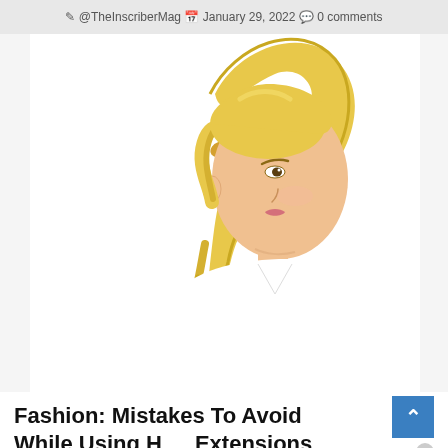@TheInscriberMag  January 29, 2022  0 comments
[Figure (photo): Blonde woman with long wavy ponytail wearing a white top, photographed from the side against a white background]
Fashion: Mistakes To Avoid While Using Hair Extensions